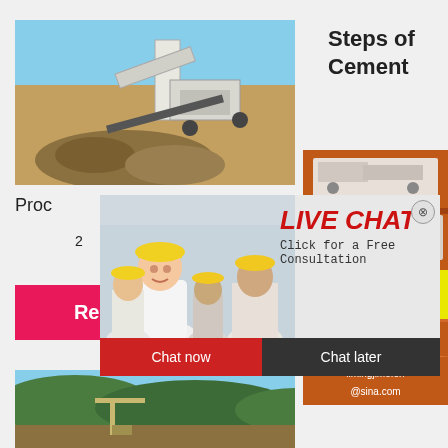[Figure (photo): Construction/mining machinery with stone crusher equipment on an outdoor site with rocks and dirt]
Steps of Cement
Proc
2
[Figure (photo): Live Chat popup overlay with workers in hard hats/helmets, showing LIVE CHAT text and consultation offer]
LIVE CHAT
Click for a Free Consultation
Chat now
Chat later
Read More
[Figure (photo): Bottom landscape/quarry image with green hills and construction equipment]
[Figure (photo): Right sidebar orange panel showing mining/crushing machinery images]
Enjoy 3% discount
Click to Chat
Enquiry
limingjlmofen@sina.com